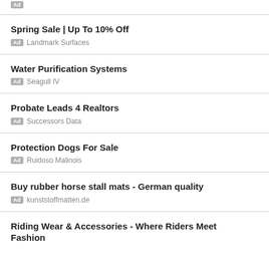Spring Sale | Up To 10% Off — Ad Landmark Surfaces
Water Purification Systems — Ad Seagull IV
Probate Leads 4 Realtors — Ad Successors Data
Protection Dogs For Sale — Ad Ruidoso Malinois
Buy rubber horse stall mats - German quality — Ad kunststoffmatten.de
Riding Wear & Accessories - Where Riders Meet Fashion